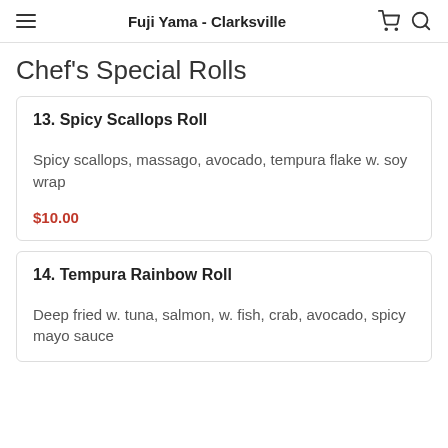Fuji Yama - Clarksville
Chef's Special Rolls
13. Spicy Scallops Roll
Spicy scallops, massago, avocado, tempura flake w. soy wrap
$10.00
14. Tempura Rainbow Roll
Deep fried w. tuna, salmon, w. fish, crab, avocado, spicy mayo sauce